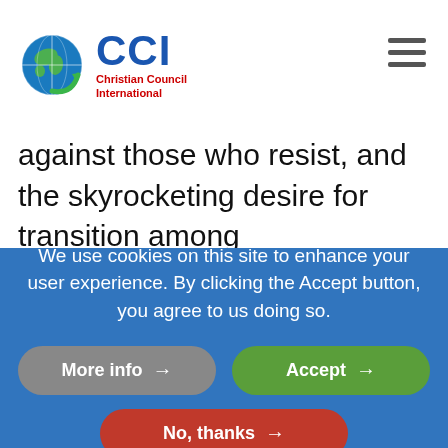[Figure (logo): CCI Christian Council International logo with globe icon]
against those who resist, and the skyrocketing desire for transition among
We use cookies on this site to enhance your user experience. By clicking the Accept button, you agree to us doing so.
More info →
Accept →
No, thanks →